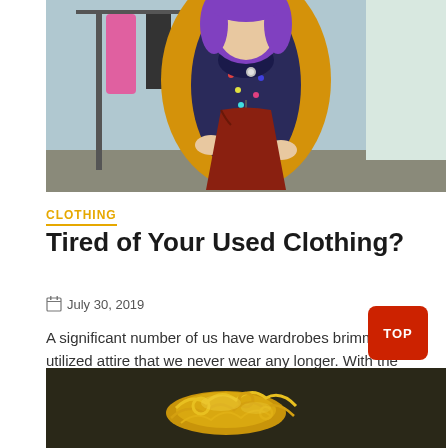[Figure (photo): Woman with purple hair wearing a mustard yellow cardigan over a colorful patterned blouse, holding a red/rust colored garment on a hanger in front of a clothing rack]
CLOTHING
Tired of Your Used Clothing?
July 30, 2019
A significant number of us have wardrobes brimming with utilized attire that we never wear any longer. With the development of the web, there are...
View More »
[Figure (photo): Pile of gold jewelry and accessories on a dark surface]